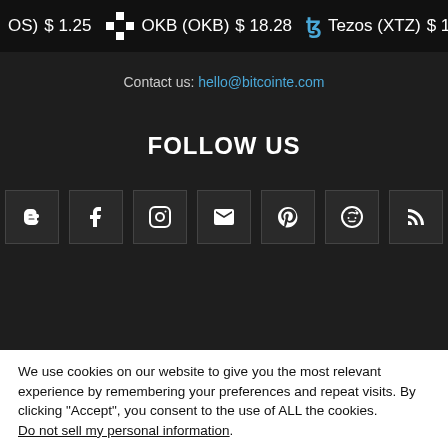OS) $1.25  OKB (OKB) $18.28  Tezos (XTZ) $1.92
Contact us: hello@bitcointe.com
FOLLOW US
[Figure (other): Row of 7 social media icon boxes: Blogger, Facebook, Instagram, Email, Pinterest, Reddit, RSS]
We use cookies on our website to give you the most relevant experience by remembering your preferences and repeat visits. By clicking "Accept", you consent to the use of ALL the cookies.
Do not sell my personal information.
Cookie settings  ACCEPT